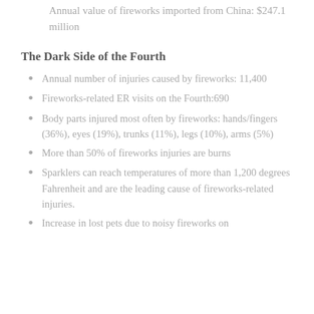Annual value of fireworks imported from China: $247.1 million
The Dark Side of the Fourth
Annual number of injuries caused by fireworks: 11,400
Fireworks-related ER visits on the Fourth:690
Body parts injured most often by fireworks: hands/fingers (36%), eyes (19%), trunks (11%), legs (10%), arms (5%)
More than 50% of fireworks injuries are burns
Sparklers can reach temperatures of more than 1,200 degrees Fahrenheit and are the leading cause of fireworks-related injuries.
Increase in lost pets due to noisy fireworks on